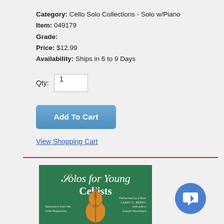Category: Cello Solo Collections - Solo w/Piano
Item: 049179
Grade:
Price: $12.99
Availability: Ships in 6 to 9 Days
Qty: 1
Add To Cart
View Shopping Cart
[Figure (illustration): Book cover for 'Solos for Young Cellists' showing a cello against a green background with decorative script title text]